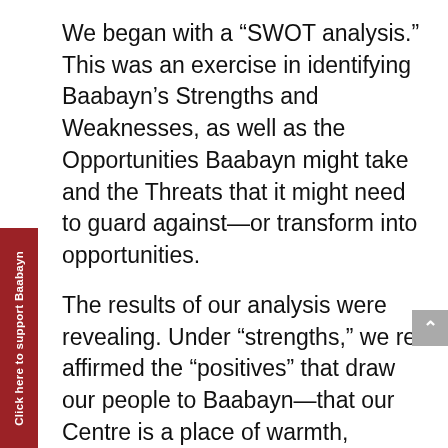We began with a “SWOT analysis.” This was an exercise in identifying Baabayn’s Strengths and Weaknesses, as well as the Opportunities Baabayn might take and the Threats that it might need to guard against—or transform into opportunities.
The results of our analysis were revealing. Under “strengths,” we re-affirmed the “positives” that draw our people to Baabayn—that our Centre is a place of warmth, respect and safety, and that Baabayn is founded on strong relationships, trust and good communication. Working on the other three categories helped us to clarify that: